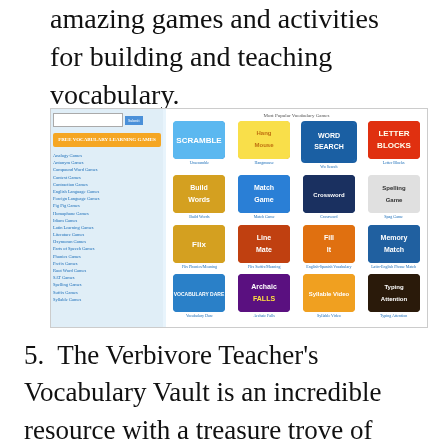amazing games and activities for building and teaching vocabulary.
[Figure (screenshot): Screenshot of a vocabulary games website showing a left sidebar with navigation links and a grid of 16 game icons including Scramble, Hangmouse, Word Search, Letter Blocks, Build Words, Match Game, Crosswords, Spelling Game, Flix, Line Me, Fill It, Memory Match, Vocabulary Dare, Archaic Falls, Syllable Video, and Typing Attention.]
5. The Verbivore Teacher's Vocabulary Vault is an incredible resource with a treasure trove of categorised word banks including teaching plans, lesson resources and 'words for the fridge' at home. It also has